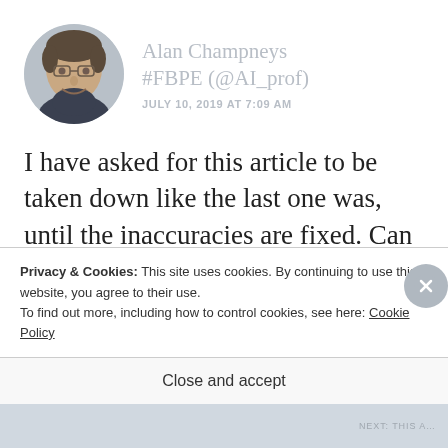[Figure (photo): Circular avatar photo of a middle-aged man with glasses and dark hair, smiling, wearing a dark shirt. Gray circular frame.]
Alan Champneys #FBPE (@AI_prof)
JULY 10, 2019 AT 7:09 AM
I have asked for this article to be taken down like the last one was, until the inaccuracies are fixed. Can you do this
Privacy & Cookies: This site uses cookies. By continuing to use this website, you agree to their use.
To find out more, including how to control cookies, see here: Cookie Policy
Close and accept